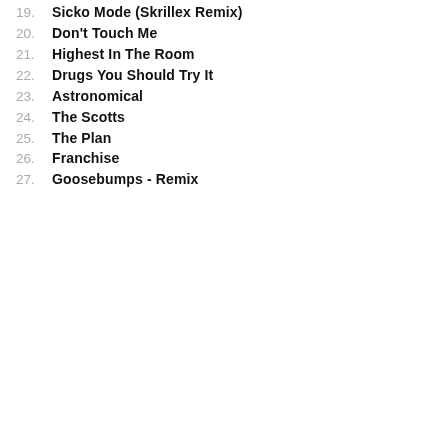19. Sicko Mode (Skrillex Remix)
20. Don't Touch Me
21. Highest In The Room
22. Drugs You Should Try It
23. Astronomical
24. The Scotts
25. The Plan
26. Franchise
27. Goosebumps - Remix